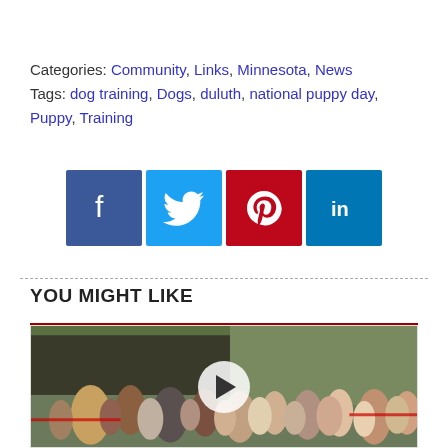Categories: Community, Links, Minnesota, News
Tags: dog training, Dogs, duluth, national puppy day, Puppy, Training
[Figure (infographic): Social media sharing icons: Facebook (blue), Twitter (light blue), Pinterest (red), LinkedIn (dark blue)]
YOU MIGHT LIKE
[Figure (photo): Outdoor crowd scene with many people applauding, with a video play button overlay in the center]